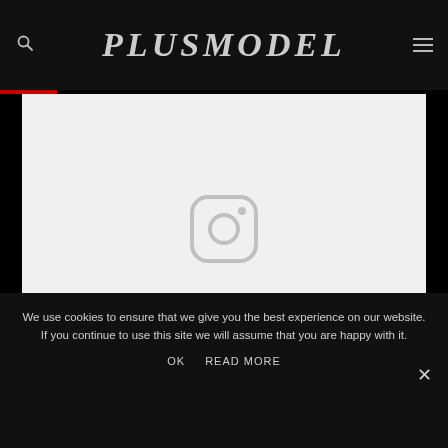PLUSMODEL
[Figure (screenshot): Light gray image placeholder area with an Instagram camera icon in the center]
We use cookies to ensure that we give you the best experience on our website. If you continue to use this site we will assume that you are happy with it.
OK   READ MORE